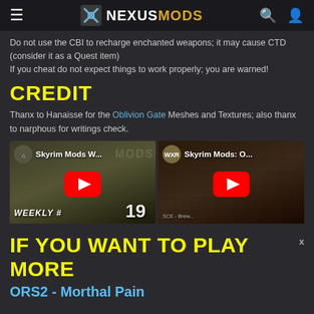NEXUSMODS
Do not use the CBI to recharge enchanted weapons; it may cause CTD (consider it as a Quest item)
If you cheat do not expect things to work properly; you are warned!
CREDIT
Thanx to Hanaisse for the Oblivion Gate Meshes and Textures; also thanx to narphous for writings check.
[Figure (screenshot): YouTube video thumbnail for 'Skyrim Mods W...' showing WEEKLY text and play button]
[Figure (screenshot): YouTube video thumbnail for 'Skyrim Mods: O...' with MXR logo and play button]
IF YOU WANT TO PLAY MORE
ORS2 - Morthal Pain